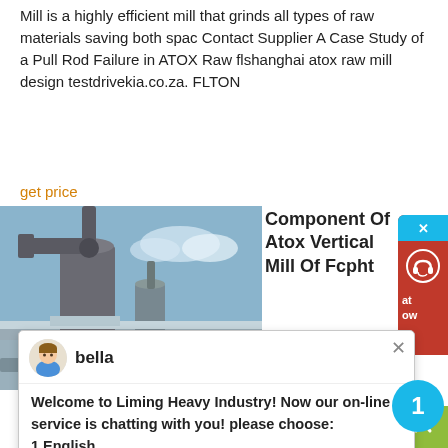Mill is a highly efficient mill that grinds all types of raw materials saving both spac Contact Supplier A Case Study of a Pull Rod Failure in ATOX Raw flshanghai atox raw mill design testdrivekia.co.za. FLTON
get price
[Figure (photo): Industrial mill equipment with pipes and machinery against blue sky]
Component Of Atox Vertical Mill Of Fcpht
Studies, The ATOX mill has roller
[Figure (screenshot): Chat popup from Liming Heavy Industry with avatar named bella saying: Welcome to Liming Heavy Industry! Now our on-line service is chatting with you! please choose: 1.English]
Features and Atox Vertical Mill Studies, component of atox vertical mill of f c p html. Home >Crusher Solution 08 >component of atox vertical mill of f c p html Print Email component of atox vertical,component of atox vertical mill of fcp html .
get price
Jonis Jonis Raw